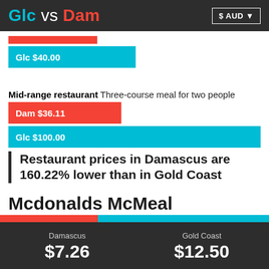Glc vs Dam  $ AUD
[Figure (bar-chart): Restaurant price bars]
Mid-range restaurant Three-course meal for two people
Restaurant prices in Damascus are 160.22% lower than in Gold Coast
Mcdonalds McMeal
Or equivalent combo meal
[Figure (bar-chart): Mcdonalds McMeal comparison]